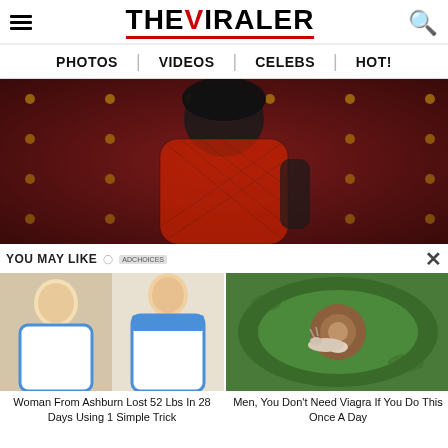THE VIRALER
PHOTOS | VIDEOS | CELEBS | HOT!
[Figure (photo): Woman in red bikini and black fishnet outfit posing against dark red tufted background]
YOU MAY LIKE
[Figure (photo): Before and after weight loss photos of a woman in white dress]
Woman From Ashburn Lost 52 Lbs In 28 Days Using 1 Simple Trick
[Figure (photo): Close-up of vegetable with a snail]
Men, You Don't Need Viagra If You Do This Once A Day